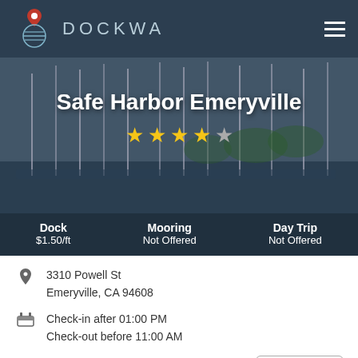[Figure (logo): Dockwa logo: anchor/compass circle icon with location pin, text DOCKWA in light grey on dark navy background]
[Figure (photo): Marina with many sailboat masts, calm water, trees in background, overcast sky, dark overlay]
Safe Harbor Emeryville
★★★★☆ (4 out of 5 stars)
Dock $1.50/ft | Mooring Not Offered | Day Trip Not Offered
3310 Powell St
Emeryville, CA 94608
Check-in after 01:00 PM
Check-out before 11:00 AM
(510) 654-3716
Favorite